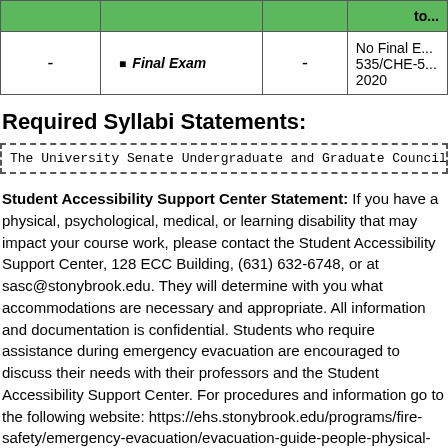|  |  |  | to... |
| --- | --- | --- | --- |
| - | Final Exam | - | No Final E... 535/CHE-5... 2020 |
Required Syllabi Statements:
The University Senate Undergraduate and Graduate Councils have authori...
Student Accessibility Support Center Statement: If you have a physical, psychological, medical, or learning disability that may impact your course work, please contact the Student Accessibility Support Center, 128 ECC Building, (631) 632-6748, or at sasc@stonybrook.edu. They will determine with you what accommodations are necessary and appropriate. All information and documentation is confidential. Students who require assistance during emergency evacuation are encouraged to discuss their needs with their professors and the Student Accessibility Support Center. For procedures and information go to the following website: https://ehs.stonybrook.edu/programs/fire-safety/emergency-evacuation/evacuation-guide-people-physical-disabilities and search...